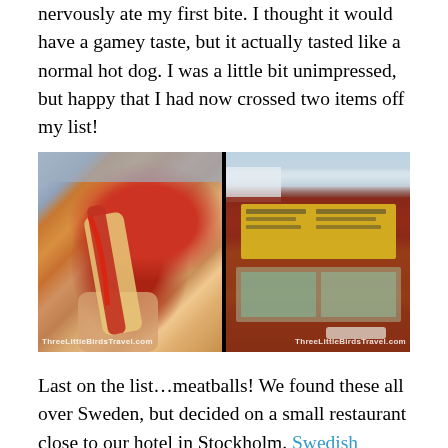nervously ate my first bite. I thought it would have a gamey taste, but it actually tasted like a normal hot dog. I was a little bit unimpressed, but happy that I had now crossed two items off my list!
[Figure (photo): Two side-by-side photos. Left: a hot dog with ketchup held in hand, watermark ThreeLittleBirdsTravel.com. Right: exterior of a red wooden hot dog stand/kiosk with yellow menu boards, watermark ThreeLittleBirdsTravel.com.]
Last on the list…meatballs! We found these all over Sweden, but decided on a small restaurant close to our hotel in Stockholm. Swedish meatballs are traditionally served with potatoes and lingonberry jam and that's just